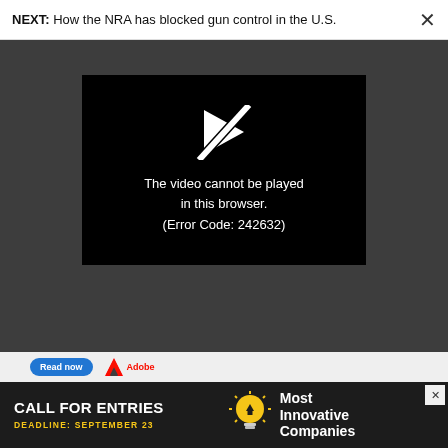NEXT: How the NRA has blocked gun control in the U.S.
[Figure (screenshot): Video player error screen showing a broken video icon and text: 'The video cannot be played in this browser. (Error Code: 242632)' on a black background, embedded in a dark gray page.]
[Figure (photo): Adobe advertisement showing a woman looking at a phone with 'Read now' button and Adobe logo.]
[Figure (infographic): Bottom banner ad: 'CALL FOR ENTRIES DEADLINE: SEPTEMBER 23' with a lightbulb icon and text 'Most Innovative Companies']